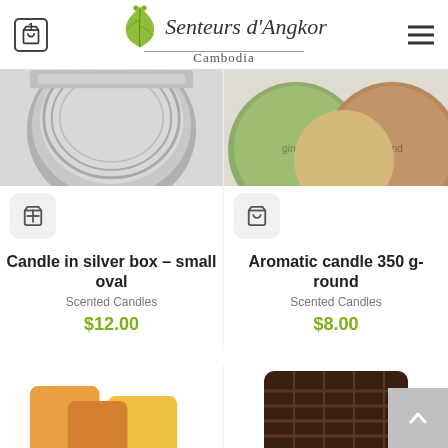Senteurs d'Angkor Cambodia
[Figure (photo): Partial top view of a candle in a silver tin box]
[Figure (photo): Partial top view of round aromatic candles in green and brown colors]
Candle in silver box – small oval
Scented Candles
$12.00
Aromatic candle 350 g- round
Scented Candles
$8.00
[Figure (photo): Partial bottom view of soap bars in orange and yellow colors]
[Figure (photo): Partial bottom view of a dark brown woven candle]